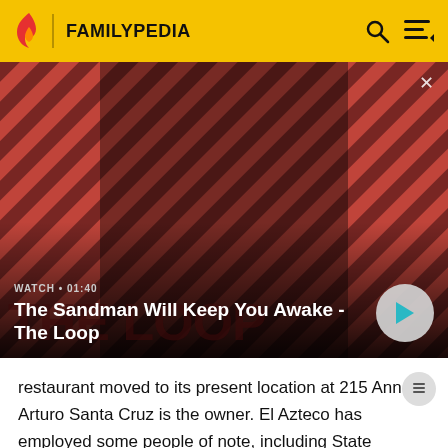FAMILYPEDIA
[Figure (screenshot): Video thumbnail showing a dark figure with a raven on shoulder against a red and black diagonal striped background. Text overlay: WATCH • 01:40 / The Sandman Will Keep You Awake - The Loop. Play button on the right.]
restaurant moved to its present location at 215 Ann St. Arturo Santa Cruz is the owner. El Azteco has employed some people of note, including State Representative Fred Miller and NPR journalist Sarah Hulett.